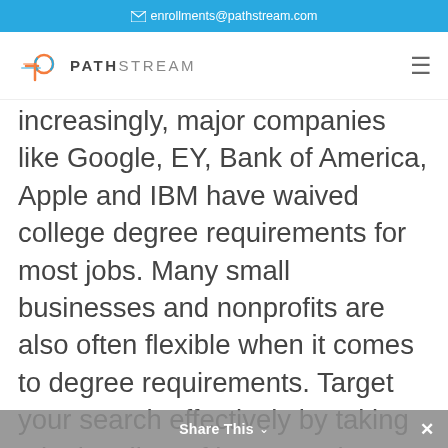✉ enrollments@pathstream.com
[Figure (logo): Pathstream logo with stylized P icon and PATHSTREAM wordmark]
increasingly, major companies like Google, EY, Bank of America, Apple and IBM have waived college degree requirements for most jobs. Many small businesses and nonprofits are also often flexible when it comes to degree requirements. Target your search effectively by taking a look at lists of large employers that do not require degrees like this one from CNBC and this one from GlassDoor. We expect to see most
Share This